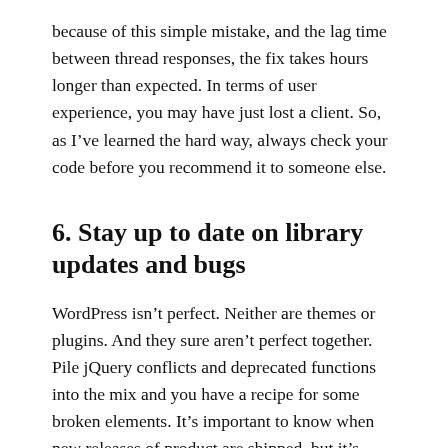because of this simple mistake, and the lag time between thread responses, the fix takes hours longer than expected. In terms of user experience, you may have just lost a client. So, as I've learned the hard way, always check your code before you recommend it to someone else.
6. Stay up to date on library updates and bugs
WordPress isn't perfect. Neither are themes or plugins. And they sure aren't perfect together. Pile jQuery conflicts and deprecated functions into the mix and you have a recipe for some broken elements. It's important to know when new releases of product are shipped, but it's even more important to know what breaks with them. I remember when